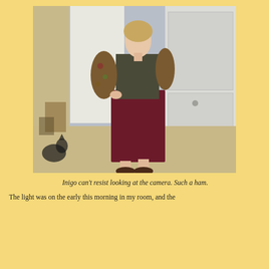[Figure (photo): A woman standing indoors wearing a floral jacket over a dark top and a long burgundy/maroon skirt with brown heeled shoes, posing near a closet. A cat is visible in the lower left background.]
Inigo can't resist looking at the camera. Such a ham.
The light was on the early this morning in my room, and the